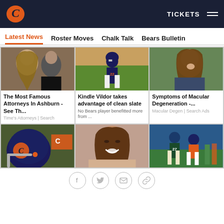Chicago Bears website header with logo, TICKETS and menu
Latest News | Roster Moves | Chalk Talk | Bears Bulletin
[Figure (screenshot): Three-column news grid. Top row: (1) Celebrity couple photo - The Most Famous Attorneys In Ashburn - See Th... / Time's Attorneys | Search. (2) Bears football player in uniform - Kindle Vildor takes advantage of clean slate / No Bears player benefitted more from ... (3) Woman in car - Symptoms of Macular Degeneration -... / Macular Degen | Search Ads. Bottom row: (1) Bears helmet photo, (2) Woman smiling, (3) Football game action shot.]
Social share buttons: Facebook, Twitter, Email, Link